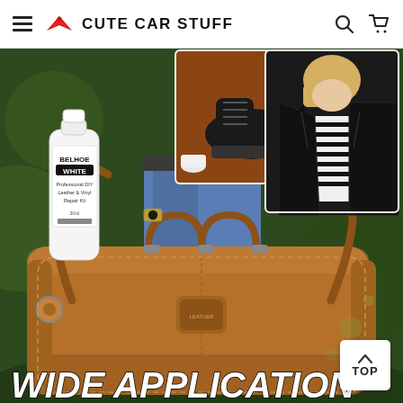CUTE CAR STUFF
[Figure (photo): Product image collage showing a BELHOE WHITE Professional DIY Leather & Vinyl Repair Kit bottle, leather boots with shoe care accessories, a woman in a black leather jacket, and a large tan leather duffel bag being held outdoors. Text overlay reads WIDE APPLICATION.]